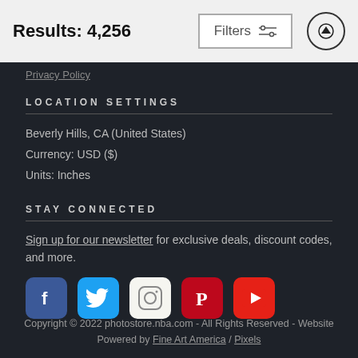Results: 4,256
Filters
Privacy Policy
LOCATION SETTINGS
Beverly Hills, CA (United States)
Currency: USD ($)
Units: Inches
STAY CONNECTED
Sign up for our newsletter for exclusive deals, discount codes, and more.
[Figure (other): Social media icons: Facebook, Twitter, Instagram, Pinterest, YouTube]
Copyright © 2022 photostore.nba.com - All Rights Reserved - Website Powered by Fine Art America / Pixels